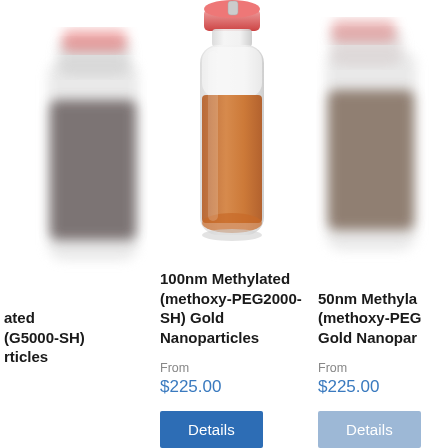[Figure (photo): Partial view of a lab vial/tube containing dark brownish-grey nanoparticle solution, cut off on left edge]
[Figure (photo): Center product photo: a clear lab microcentrifuge tube with red/pink cap containing orange-brown gold nanoparticle solution]
[Figure (photo): Partial view of a lab vial/tube containing dark brownish nanoparticle solution, cut off on right edge]
ated (G5000-SH) rticles
100nm Methylated (methoxy-PEG2000-SH) Gold Nanoparticles
50nm Methyla (methoxy-PEG Gold Nanopar
From
$225.00
Details
From
$225.00
Details